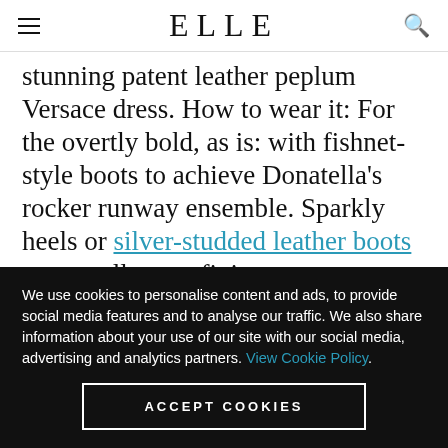ELLE
stunning patent leather peplum Versace dress. How to wear it: For the overtly bold, as is: with fishnet-style boots to achieve Donatella's rocker runway ensemble. Sparkly heels or silver-studded leather boots are equally transfixing.
We use cookies to personalise content and ads, to provide social media features and to analyse our traffic. We also share information about your use of our site with our social media, advertising and analytics partners. View Cookie Policy.
ACCEPT COOKIES